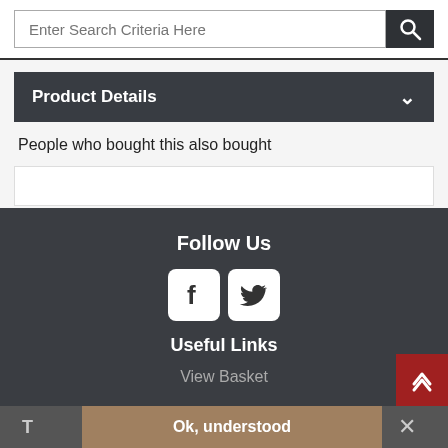Enter Search Criteria Here
Product Details
People who bought this also bought
Follow Us
[Figure (illustration): Facebook and Twitter social media icons in white rounded-rectangle boxes]
Useful Links
View Basket
Ok, understood